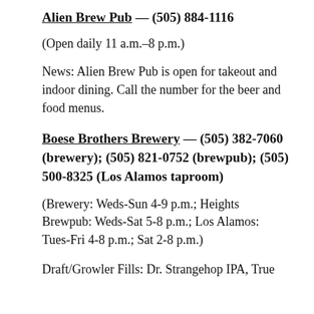Alien Brew Pub — (505) 884-1116
(Open daily 11 a.m.–8 p.m.)
News: Alien Brew Pub is open for takeout and indoor dining. Call the number for the beer and food menus.
Boese Brothers Brewery — (505) 382-7060 (brewery); (505) 821-0752 (brewpub); (505) 500-8325 (Los Alamos taproom)
(Brewery: Weds-Sun 4-9 p.m.; Heights Brewpub: Weds-Sat 5-8 p.m.; Los Alamos: Tues-Fri 4-8 p.m.; Sat 2-8 p.m.)
Draft/Growler Fills: Dr. Strangehop IPA, True